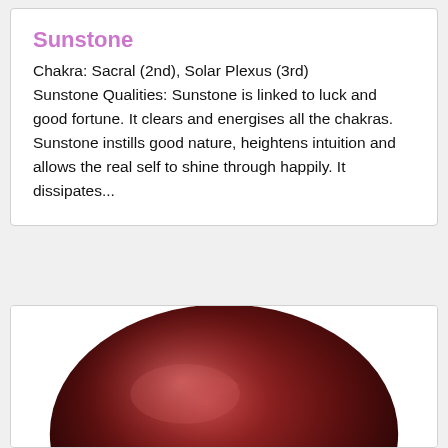Sunstone
Chakra: Sacral (2nd), Solar Plexus (3rd)
Sunstone Qualities: Sunstone is linked to luck and good fortune. It clears and energises all the chakras. Sunstone instills good nature, heightens intuition and allows the real self to shine through happily. It dissipates...
[Figure (photo): Close-up photo of a dark reddish-brown polished stone (likely a sunstone or garnet tumbled stone) against a white background, partially cropped at the bottom of the card.]